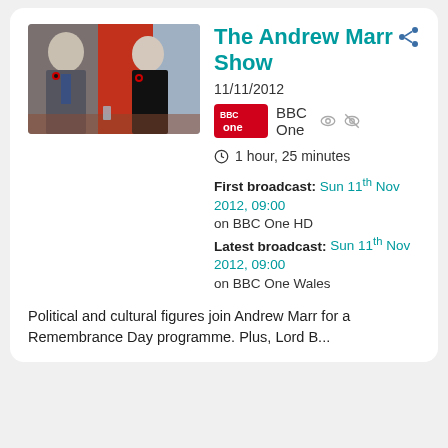[Figure (photo): Two people sitting in a TV studio, a man in a suit with a poppy on the left and a woman in black with a poppy on the right, on The Andrew Marr Show set.]
The Andrew Marr Show
11/11/2012
[Figure (logo): BBC One red logo badge]
BBC One
1 hour, 25 minutes
First broadcast: Sun 11th Nov 2012, 09:00 on BBC One HD
Latest broadcast: Sun 11th Nov 2012, 09:00 on BBC One Wales
Political and cultural figures join Andrew Marr for a Remembrance Day programme. Plus, Lord B...